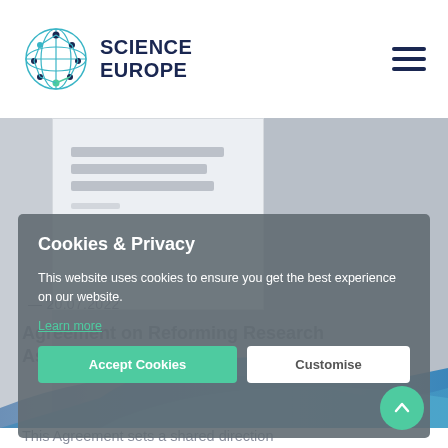SCIENCE EUROPE
[Figure (screenshot): Science Europe website screenshot showing a document thumbnail with blurred title text and a blue ribbon graphic at the bottom of the hero image area. A date reference '20.07.2022' and text 'Agreement on Reforming Research Assessment' and 'This Agreement sets a shared direction' are partially visible behind a cookies overlay.]
Cookies & Privacy
This website uses cookies to ensure you get the best experience on our website.
Learn more
Agreement on Reforming Research Assessment
Accept Cookies
Customise
This Agreement sets a shared direction